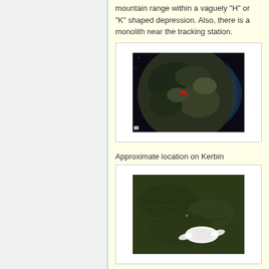mountain range within a vaguely "H" or "K" shaped depression. Also, there is a monolith near the tracking station.
[Figure (photo): Aerial/space view of Kerbin planet surface with a red arrow pointing to a location on the dark rocky terrain, with blue atmospheric glow on the right edge.]
Approximate location on Kerbin
[Figure (photo): Close-up overhead view of dark green Kerbin terrain showing a white spacecraft/vehicle on the surface with faint surface markings visible.]